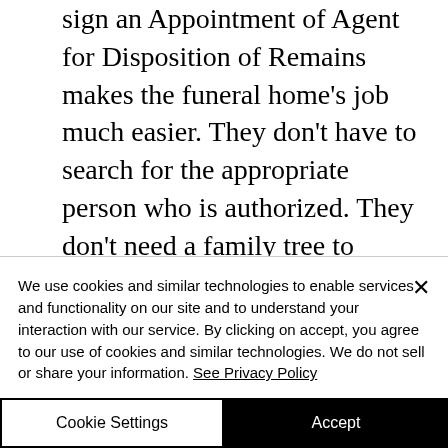sign an Appointment of Agent for Disposition of Remains makes the funeral home’s job much easier. They don’t have to search for the appropriate person who is authorized. They don’t need a family tree to decide if they are talking to the correct legally authorized person. This is especially useful when there is a conflict in the family.
We use cookies and similar technologies to enable services and functionality on our site and to understand your interaction with our service. By clicking on accept, you agree to our use of cookies and similar technologies. We do not sell or share your information. See Privacy Policy